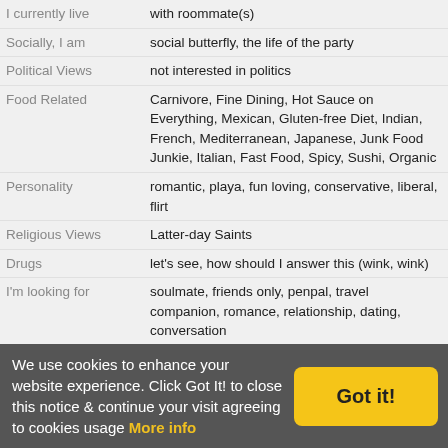| Field | Value |
| --- | --- |
| I currently live | with roommate(s) |
| Socially, I am | social butterfly, the life of the party |
| Political Views | not interested in politics |
| Food Related | Carnivore, Fine Dining, Hot Sauce on Everything, Mexican, Gluten-free Diet, Indian, French, Mediterranean, Japanese, Junk Food Junkie, Italian, Fast Food, Spicy, Sushi, Organic |
| Personality | romantic, playa, fun loving, conservative, liberal, flirt |
| Religious Views | Latter-day Saints |
| Drugs | let's see, how should I answer this (wink, wink) |
| I'm looking for | soulmate, friends only, penpal, travel companion, romance, relationship, dating, conversation |
| My Sign | i was born in february, aquarius : jan. 20-feb. 18 |
| Pets | Dog, Cats, Fish |
| Gender | Female |
| Music | Folk, R and B, Hard Rock, Rock, Reggae, Alternative Rock, Hip Hop, Techno, Soul, Bluegrass, House, Funk, Celtic, Jazz, Choir, Karaoke, World, Classical, Opera, Relaxation and Meditation, Dance, Pop |
| Hair Style | long hair, straight |
| Fitness & Sports | soccer (U.S.), volleyball, skiing, yoga, bowling, snowboarding, swimming, golf, hiking, surfing, walking, dancing, baseball, skateboarding |
| Languages | Hebrew, Spanish, English, Portuguese, Italian |
We use cookies to enhance your website experience. Click Got It! to close this notice & continue your visit agreeing to cookies usage More info